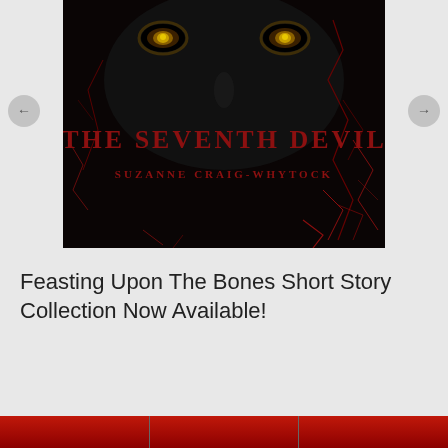[Figure (illustration): Book cover for 'The Seventh Devil' by Suzanne Craig-Whytock. Dark background showing glowing yellow eyes peering from shadow, with red crack patterns over entire cover. Title 'THE SEVENTH DEVIL' in large dark red bold text, author name 'SUZANNE CRAIG-WHYTOCK' below in smaller red text.]
Feasting Upon The Bones Short Story Collection Now Available!
[Figure (other): Red banner strip at bottom of page, divided into three sections by vertical lines.]